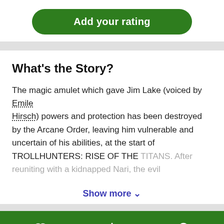[Figure (other): Green rounded button with text 'Add your rating']
What's the Story?
The magic amulet which gave Jim Lake (voiced by Emile Hirsch) powers and protection has been destroyed by the Arcane Order, leaving him vulnerable and uncertain of his abilities, at the start of TROLLHUNTERS: RISE OF THE TITANS. After reuniting with a kidnapped Nari, the evil
Show more ∨
Save   Rate movie   Watch or buy